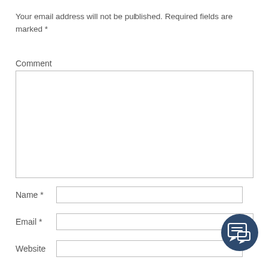Your email address will not be published. Required fields are marked *
Comment
[Figure (other): Empty comment textarea box]
Name *
Email *
Website
[Figure (illustration): Dark blue circular chat/comment icon with speech bubble symbol]